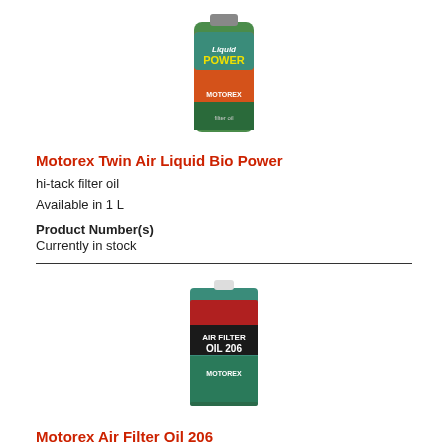[Figure (photo): Motorex Twin Air Liquid Bio Power product bottle - green bottle with orange/red label showing 'Liquid POWER' and MOTOREX branding]
Motorex Twin Air Liquid Bio Power
hi-tack filter oil
Available in 1 L
Product Number(s)
Currently in stock
[Figure (photo): Motorex Air Filter Oil 206 product tin - green tin with red/black label showing motorcycle rider, 'AIR FILTER OIL 206' and MOTOREX branding]
Motorex Air Filter Oil 206
Specially developed for foam filter elements
Available in 5 L
Product Number(s)
Currently in stock